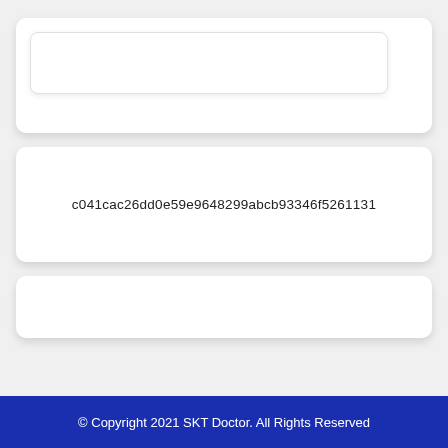[Figure (screenshot): A white rounded card with a lighter inner rounded rectangle (input field style), both with drop shadows, on a light gray background.]
c041cac26dd0e59e9648299abcb93346f5261131
[Figure (screenshot): An empty white rounded card with drop shadow on a light gray background.]
© Copyright 2021 SKT Doctor. All Rights Reserved